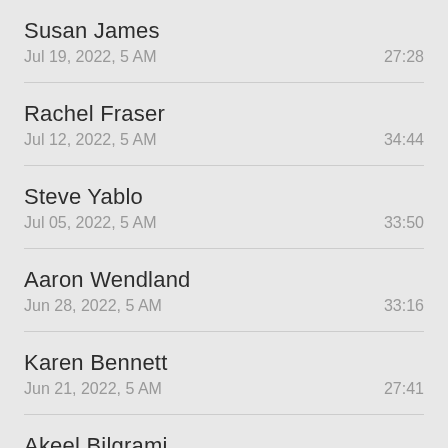Susan James
Jul 19, 2022, 5 AM	27:28
Rachel Fraser
Jul 12, 2022, 5 AM	34:44
Steve Yablo
Jul 05, 2022, 5 AM	33:50
Aaron Wendland
Jun 28, 2022, 5 AM	33:16
Karen Bennett
Jun 21, 2022, 5 AM	27:41
Akeel Bilgrami